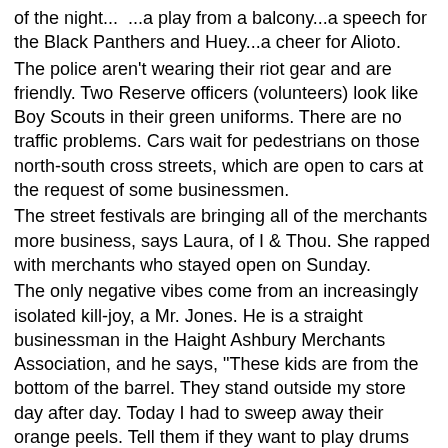of the night...  ...a play from a balcony...a speech for the Black Panthers and Huey...a cheer for Alioto.
The police aren't wearing their riot gear and are friendly. Two Reserve officers (volunteers) look like Boy Scouts in their green uniforms. There are no traffic problems. Cars wait for pedestrians on those north-south cross streets, which are open to cars at the request of some businessmen.
The street festivals are bringing all of the merchants more business, says Laura, of I & Thou. She rapped with merchants who stayed open on Sunday.
The only negative vibes come from an increasingly isolated kill-joy, a Mr. Jones. He is a straight businessman in the Haight Ashbury Merchants Association, and he says, "These kids are from the bottom of the barrel. They stand outside my store day after day. Today I had to sweep away their orange peels. Tell them if they want to play drums they can go to the Sahara Desert."
Most of the community is too excited about new plans for Haight Ashbury to worry about Mr. Jones... [Various community representatives] are busy with plans for new festivals...
SDS plans to present a 5000-signature petition to the Board of Supervisors this Monday. The next thing the Board...